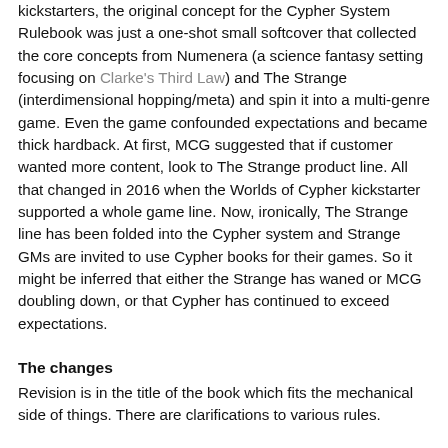kickstarters, the original concept for the Cypher System Rulebook was just a one-shot small softcover that collected the core concepts from Numenera (a science fantasy setting focusing on Clarke's Third Law) and The Strange (interdimensional hopping/meta) and spin it into a multi-genre game. Even the game confounded expectations and became thick hardback. At first, MCG suggested that if customer wanted more content, look to The Strange product line. All that changed in 2016 when the Worlds of Cypher kickstarter supported a whole game line. Now, ironically, The Strange line has been folded into the Cypher system and Strange GMs are invited to use Cypher books for their games. So it might be inferred that either the Strange has waned or MCG doubling down, or that Cypher has continued to exceed expectations.
The changes
Revision is in the title of the book which fits the mechanical side of things. There are clarifications to various rules.